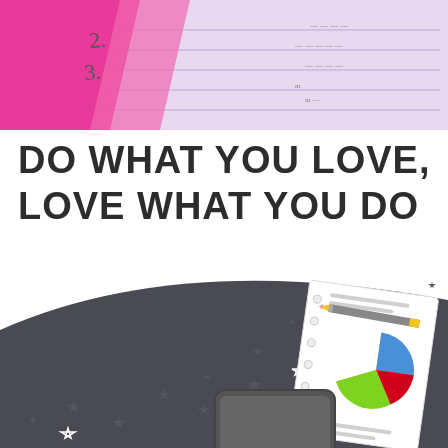[Figure (photo): Top portion showing a pink/lavender notepad with handwritten numbers 2, 3, diagonal pink tape/bookmark strips, and ruled lines with handwritten text visible on the right side.]
DO WHAT YOU LOVE,
LOVE WHAT YOU DO
[Figure (illustration): Dark charcoal background sweeping from lower-left to upper-right with scattered star shapes (some filled dark, some outlined in white). In the lower-right, a white notepad with hole-punch rings shows a pie chart with orange, blue, green, and red slices, with horizontal line text above and below. A pencil rests across the notepad. Below the notepad, a dark tablet/phone device is partially visible.]